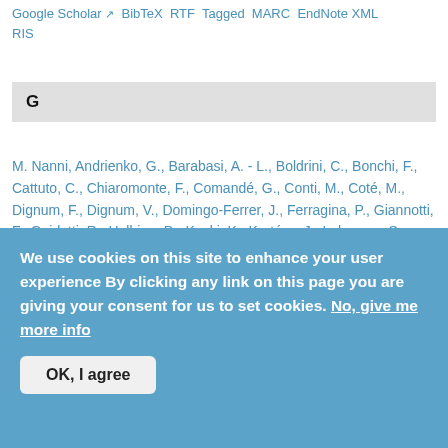Google Scholar BibTeX RTF Tagged MARC EndNote XML RIS
G
M. Nanni, Andrienko, G., Barabasi, A. - L., Boldrini, C., Bonchi, F., Cattuto, C., Chiaromonte, F., Comandé, G., Conti, M., Coté, M., Dignum, F., Dignum, V., Domingo-Ferrer, J., Ferragina, P., Giannotti, F., Guidotti, R., Helbing, D., Kaski, K., Kertész, J., Lehmann, S., Lepri, B., Lukowicz, P., Matwin, S., Jiménez, D. Megias, Monreale, A., Morik, K., Oliver, N., Passarella, A., Passerini, A., Pedreschi, D., Pentland, A., Pianesi, F., Pratesi, F., Rinzivillo, S., Ruggieri, S., Siebes, A., Torra, V., Trasarti, R., van den Hoven, J.,
We use cookies on this site to enhance your user experience By clicking any link on this page you are giving your consent for us to set cookies. No, give me more info
OK, I agree